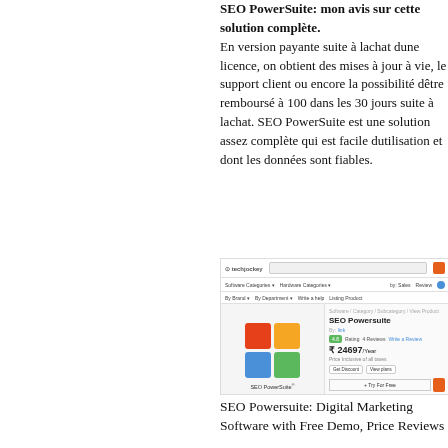SEO PowerSuite: mon avis sur cette solution complète. En version payante suite à lachat dune licence, on obtient des mises à jour à vie, le support client ou encore la possibilité dêtre remboursé à 100 dans les 30 jours suite à lachat. SEO PowerSuite est une solution assez complète qui est facile dutilisation et dont les données sont fiables.
[Figure (screenshot): Screenshot of a website (techjockey.com) showing the SEO Powersuite product listing page, with the SEO PowerSuite logo (colored squares grid: red, orange, blue, green), product title, rating badge, price ₹24697/Year, buttons including 'Try For Free', and related product recommendations.]
SEO Powersuite: Digital Marketing Software with Free Demo, Price Reviews